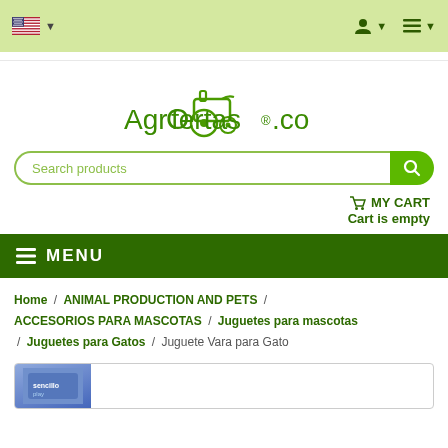AgrOfertas.co navigation bar with language selector, user icon, and menu icon
[Figure (logo): AgrOfertas.co logo with tractor icon]
Search products
MY CART
Cart is empty
≡ MENU
Home / ANIMAL PRODUCTION AND PETS / ACCESORIOS PARA MASCOTAS / Juguetes para mascotas / Juguetes para Gatos / Juguete Vara para Gato
[Figure (photo): Partial product image thumbnail at bottom of page]